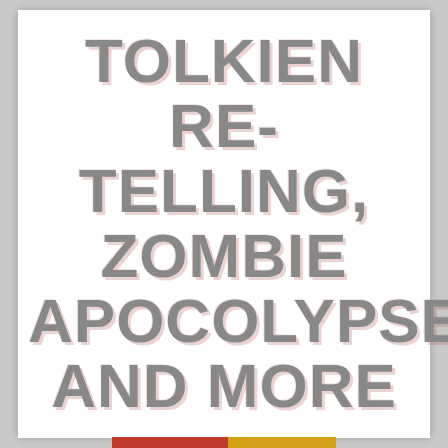TOLKIEN RE-TELLING, ZOMBIE APOCOLYPSE, AND MORE
FEB 16  DAWN